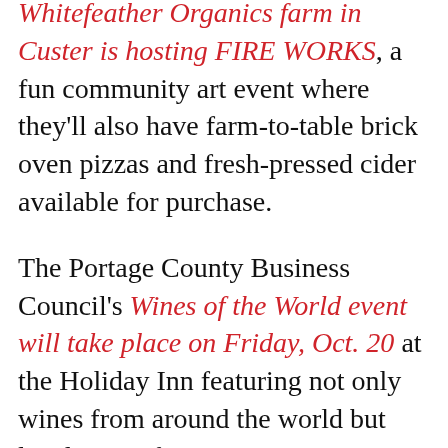Whitefeather Organics farm in Custer is hosting FIRE WORKS, a fun community art event where they'll also have farm-to-table brick oven pizzas and fresh-pressed cider available for purchase.
The Portage County Business Council's Wines of the World event will take place on Friday, Oct. 20 at the Holiday Inn featuring not only wines from around the world but local wines from Sunset Point Winery, local craft spirits from Great Northern